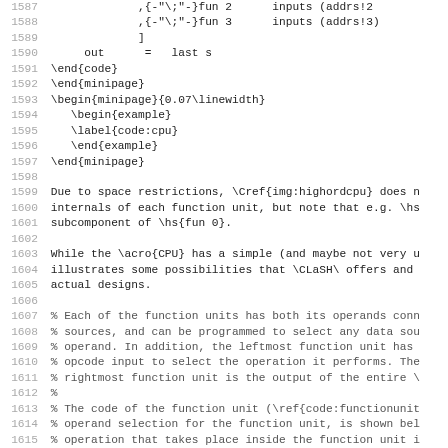Source code listing lines 1587-1619, showing LaTeX/Haskell code with comments about CPU function units and CLaSH design.